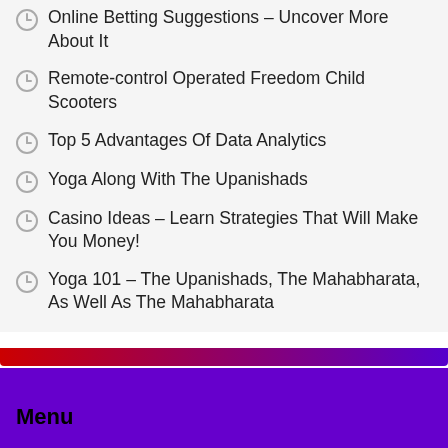Online Betting Suggestions – Uncover More About It
Remote-control Operated Freedom Child Scooters
Top 5 Advantages Of Data Analytics
Yoga Along With The Upanishads
Casino Ideas – Learn Strategies That Will Make You Money!
Yoga 101 – The Upanishads, The Mahabharata, As Well As The Mahabharata
Chronic Pain Alleviation – Benefits Of Marijuana
Menu